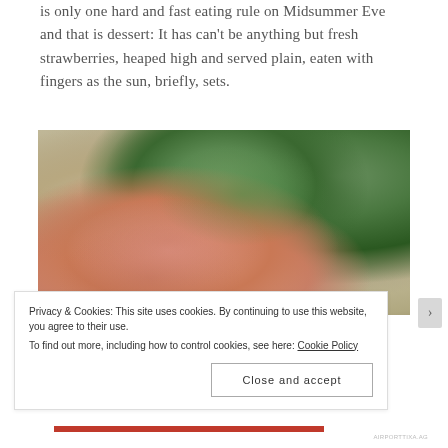is only one hard and fast eating rule on Midsummer Eve and that is dessert: It has can't be anything but fresh strawberries, heaped high and served plain, eaten with fingers as the sun, briefly, sets.
[Figure (photo): Close-up photo of smoked salmon with green herbs and vegetables, served in a bowl with lime, blurred background showing more food]
Privacy & Cookies: This site uses cookies. By continuing to use this website, you agree to their use.
To find out more, including how to control cookies, see here: Cookie Policy
Close and accept